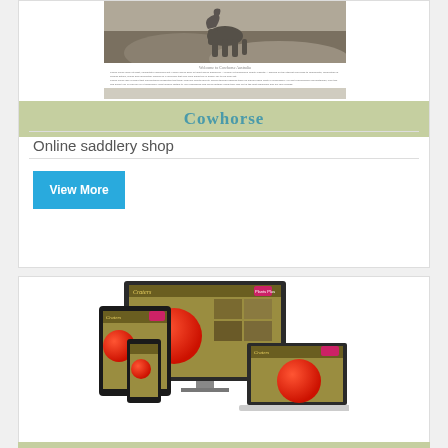[Figure (screenshot): Screenshot of a horse website called Cowhorse featuring a horse image and body text]
Cowhorse
Online saddlery shop
View More
[Figure (screenshot): Responsive web design mockup showing a garden/plant website called Craters displayed on monitor, tablet, phone, and laptop]